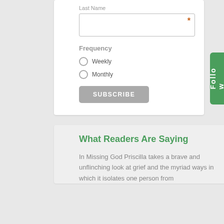Last Name
Frequency
Weekly
Monthly
SUBSCRIBE
What Readers Are Saying
In Missing God Priscilla takes a brave and unflinching look at grief and the myriad ways in which it isolates one person from